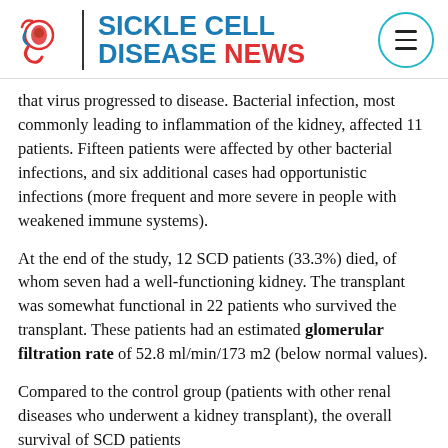SICKLE CELL DISEASE NEWS
that virus progressed to disease. Bacterial infection, most commonly leading to inflammation of the kidney, affected 11 patients. Fifteen patients were affected by other bacterial infections, and six additional cases had opportunistic infections (more frequent and more severe in people with weakened immune systems).
At the end of the study, 12 SCD patients (33.3%) died, of whom seven had a well-functioning kidney. The transplant was somewhat functional in 22 patients who survived the transplant. These patients had an estimated glomerular filtration rate of 52.8 ml/min/173 m2 (below normal values).
Compared to the control group (patients with other renal diseases who underwent a kidney transplant), the overall survival of SCD patients